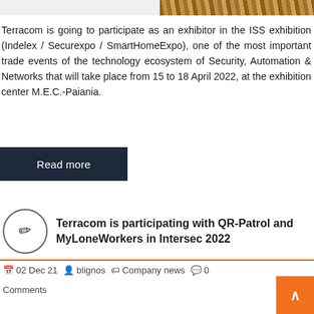[Figure (photo): Partial image visible at top right of page, appears to show metallic/industrial texture]
Terracom is going to participate as an exhibitor in the ISS exhibition (Indelex / Securexpo / SmartHomeExpo), one of the most important trade events of the technology ecosystem of Security, Automation & Networks that will take place from 15 to 18 April 2022, at the exhibition center M.E.C.-Paiania.
Read more
Terracom is participating with QR-Patrol and MyLoneWorkers in Intersec 2022
02 Dec 21   blignos   Company news   0 Comments